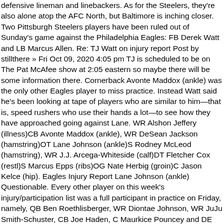defensive lineman and linebackers. As for the Steelers, they're also alone atop the AFC North, but Baltimore is inching closer. Two Pittsburgh Steelers players have been ruled out of Sunday's game against the Philadelphia Eagles: FB Derek Watt and LB Marcus Allen. Re: TJ Watt on injury report Post by stillthere » Fri Oct 09, 2020 4:05 pm TJ is scheduled to be on The Pat McAfee show at 2:05 eastern so maybe there will be some information there. Cornerback Avonte Maddox (ankle) was the only other Eagles player to miss practice. Instead Watt said he's been looking at tape of players who are similar to him—that is, speed rushers who use their hands a lot—to see how they have approached going against Lane. WR Alshon Jeffery (illness)CB Avonte Maddox (ankle), WR DeSean Jackson (hamstring)OT Lane Johnson (ankle)S Rodney McLeod (hamstring), WR J.J. Arcega-Whiteside (calf)DT Fletcher Cox (restl)S Marcus Epps (ribs)OG Nate Herbig (groin)C Jason Kelce (hip). Eagles Injury Report Lane Johnson (ankle) Questionable. Every other player on this week's injury/participation list was a full participant in practice on Friday, namely, QB Ben Roethlisberger, WR Diontae Johnson, WR JuJu Smith-Schuster, CB Joe Haden, C Maurkice Pouncey and DE Stephon Tuitt.
Philadelphia now finds itself atop the NFC East standings, but there isn't much room for error. Subscribe to PennLive. On Monday the governor